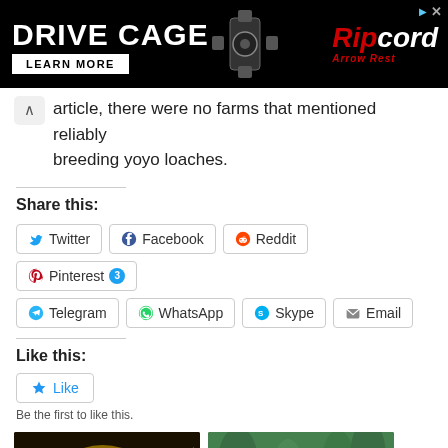[Figure (photo): Advertisement banner for Ripcord Arrow Rest - DRIVE CAGE product with LEARN MORE button on black/red background]
article, there were no farms that mentioned reliably breeding yoyo loaches.
Share this:
Twitter  Facebook  Reddit  Pinterest 3  Telegram  WhatsApp  Skype  Email
Like this:
Like
Be the first to like this.
[Figure (photo): Photo of a striped yoyo loach fish, yellow and black striped pattern]
[Figure (photo): Photo of a white/albino fish with green plant background]